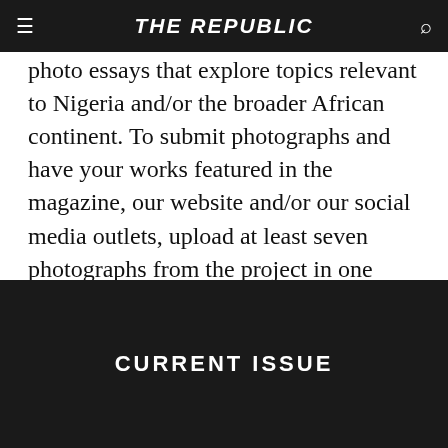THE REPUBLIC
photo essays that explore topics relevant to Nigeria and/or the broader African continent. To submit photographs and have your works featured in the magazine, our website and/or our social media outlets, upload at least seven photographs from the project in one Word document to us✸
SHARE THIS:
CURRENT ISSUE